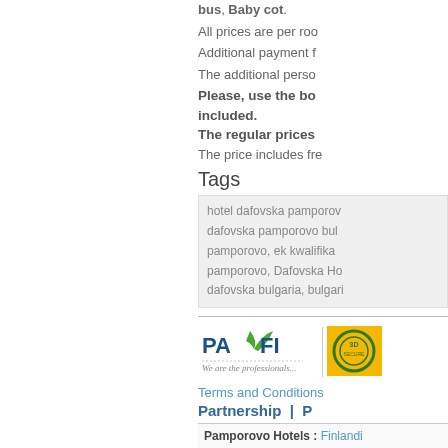bus, Baby cot.
All prices are per roo
Additional payment f
The additional perso
Please, use the bo included.
The regular prices
The price includes fre
Tags
hotel dafovska pamporov dafovska pamporovo bul pamporovo, ek kwalifika pamporovo, Dafovska Ho dafovska bulgaria, bulgari
[Figure (logo): PASFI 'We are the professionals' logo with green/blue text and tagline]
[Figure (logo): Yellow and green badge/seal logo]
Terms and Conditions
Partnership | P XML API
Pamporovo Hotels : Finlandi